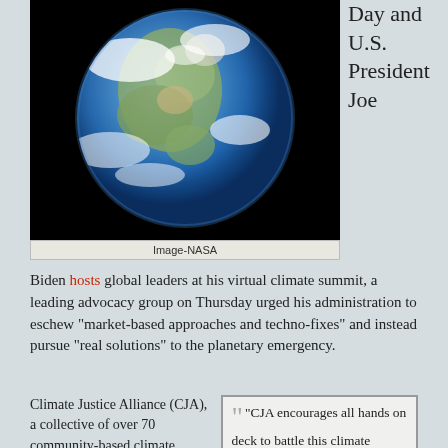[Figure (photo): NASA satellite image of Earth from space, showing North America, oceans, and cloud cover against a black background]
Image-NASA
Day and U.S. President Joe
Biden hosts global leaders at his virtual climate summit, a leading advocacy group on Thursday urged his administration to eschew “market-based approaches and techno-fixes” and instead pursue “real solutions” to the planetary emergency.
Climate Justice Alliance (CJA), a collective of over 70 community-based climate justice groups, commended Biden for reengaging with the international efforts to
“CJA encourages all hands on deck to battle this climate emergency worldwide, but we can’t continue to follow, empower, and rely on those who created the crisis to